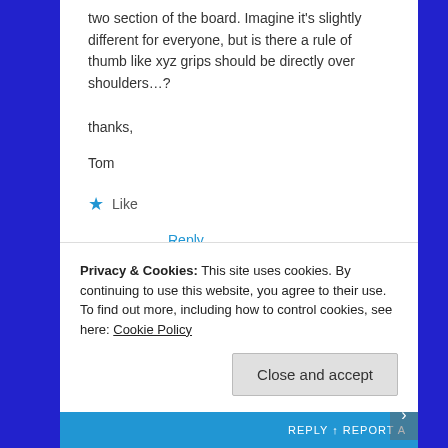two section of the board. Imagine it's slightly different for everyone, but is there a rule of thumb like xyz grips should be directly over shoulders...?
thanks,
Tom
★ Like
Reply
monomaniac29
January 12, 2015 at 3:22 pm
Privacy & Cookies: This site uses cookies. By continuing to use this website, you agree to their use.
To find out more, including how to control cookies, see here: Cookie Policy
Close and accept